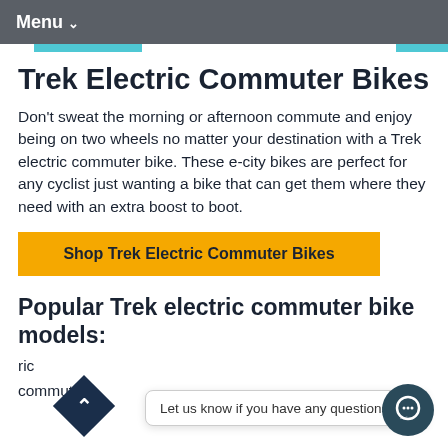Menu
Trek Electric Commuter Bikes
Don't sweat the morning or afternoon commute and enjoy being on two wheels no matter your destination with a Trek electric commuter bike. These e-city bikes are perfect for any cyclist just wanting a bike that can get them where they need with an extra boost to boot.
Shop Trek Electric Commuter Bikes
Popular Trek electric commuter bike models:
Let us know if you have any questions! 😊